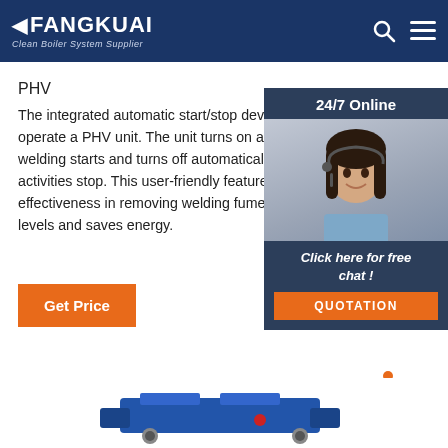FANGKUAI Clean Boiler System Supplier
PHV
The integrated automatic start/stop device makes it easy to operate a PHV unit. The unit turns on automatically when welding starts and turns off automatically as soon as welding activities stop. This user-friendly feature guarantees effectiveness in removing welding fumes, reducing exposure levels and saves energy.
[Figure (photo): Customer service representative woman with headset, 24/7 Online chat widget with QUOTATION button]
[Figure (other): TOP button with orange dots above text]
[Figure (photo): Blue industrial boiler/equipment partially visible at bottom of page]